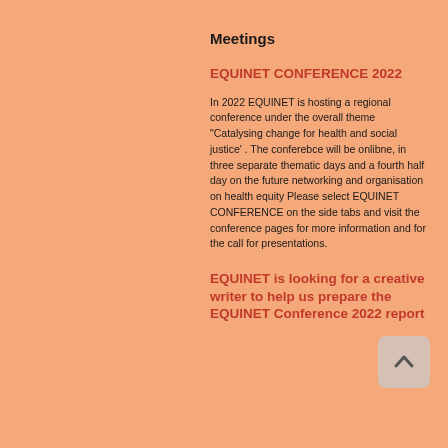Meetings
EQUINET CONFERENCE 2022
In 2022 EQUINET is hosting a regional conference under the overall theme "Catalysing change for health and social justice' . The conferebce will be onlibne, in three separate thematic days and a fourth half day on the future networking and organisation on health equity Please select EQUINET CONFERENCE on the side tabs and visit the conference pages for more information and for the call for presentations.
EQUINET is looking for a creative writer to help us prepare the EQUINET Conference 2022 report